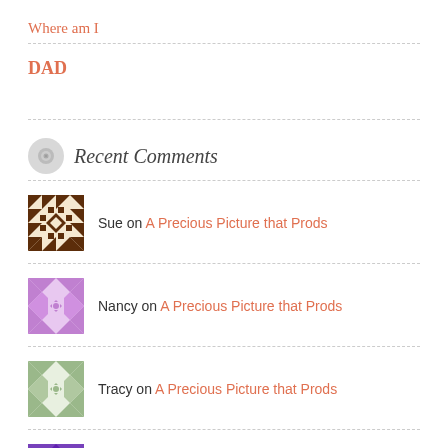Where am I
DAD
Recent Comments
Sue on A Precious Picture that Prods
Nancy on A Precious Picture that Prods
Tracy on A Precious Picture that Prods
Kay Humbard on Peripheral Vision
Nancy on Peripheral Vision